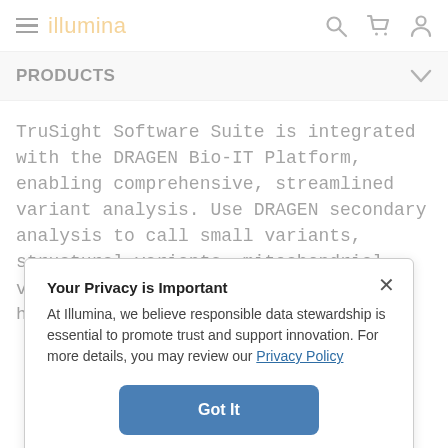illumina
PRODUCTS
TruSight Software Suite is integrated with the DRAGEN Bio-IT Platform, enabling comprehensive, streamlined variant analysis. Use DRAGEN secondary analysis to call small variants, structural variants, mitochondrial variants, repeat expansions, runs of homozygosity, and CNV/CMS...
Your Privacy is Important
At Illumina, we believe responsible data stewardship is essential to promote trust and support innovation. For more details, you may review our Privacy Policy
Got It